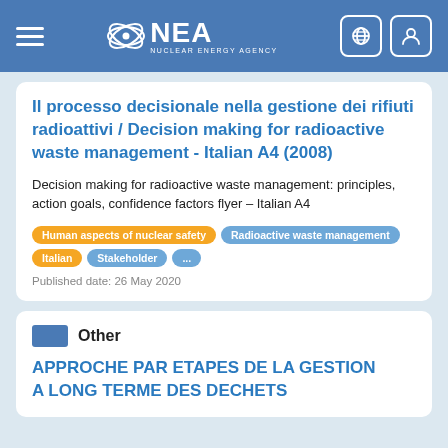NEA Nuclear Energy Agency
Il processo decisionale nella gestione dei rifiuti radioattivi / Decision making for radioactive waste management - Italian A4 (2008)
Decision making for radioactive waste management: principles, action goals, confidence factors flyer – Italian A4
Human aspects of nuclear safety | Radioactive waste management | Italian | Stakeholder | ...
Published date: 26 May 2020
Other
APPROCHE PAR ETAPES DE LA GESTION A LONG TERME DES DECHETS